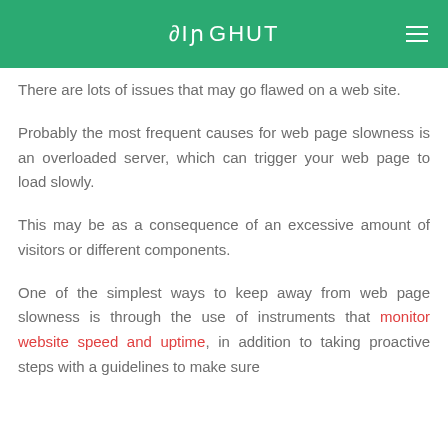PINGHUT
There are lots of issues that may go flawed on a web site.
Probably the most frequent causes for web page slowness is an overloaded server, which can trigger your web page to load slowly.
This may be as a consequence of an excessive amount of visitors or different components.
One of the simplest ways to keep away from web page slowness is through the use of instruments that monitor website speed and uptime, in addition to taking proactive steps with a guidelines to make sure